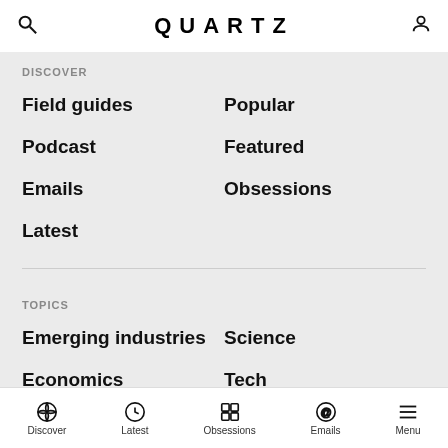QUARTZ
DISCOVER
Field guides
Popular
Podcast
Featured
Emails
Obsessions
Latest
TOPICS
Emerging industries
Science
Economics
Tech
Lifestyle
Work
Politics
MORE
Search
Help center
Discover | Latest | Obsessions | Emails | Menu